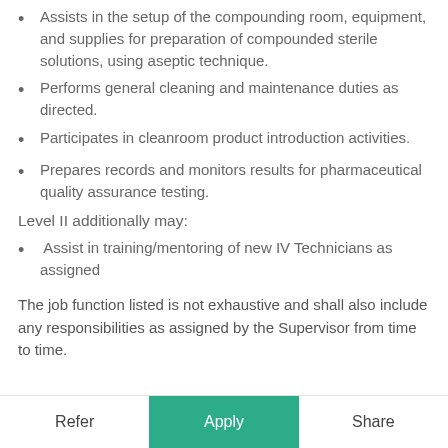Assists in the setup of the compounding room, equipment, and supplies for preparation of compounded sterile solutions, using aseptic technique.
Performs general cleaning and maintenance duties as directed.
Participates in cleanroom product introduction activities.
Prepares records and monitors results for pharmaceutical quality assurance testing.
Level II additionally may:
Assist in training/mentoring of new IV Technicians as assigned
The job function listed is not exhaustive and shall also include any responsibilities as assigned by the Supervisor from time to time.
Refer | Apply | Share